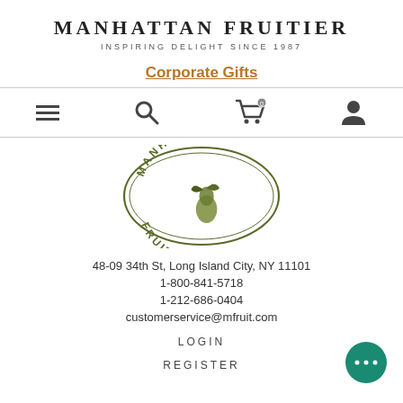MANHATTAN FRUITIER
INSPIRING DELIGHT SINCE 1987
Corporate Gifts
[Figure (screenshot): Navigation bar with hamburger menu, search icon, shopping cart icon, and user profile icon]
[Figure (logo): Manhattan Fruitier oval logo with fruit illustration]
48-09 34th St, Long Island City, NY 11101
1-800-841-5718
1-212-686-0404
customerservice@mfruit.com
LOGIN
REGISTER